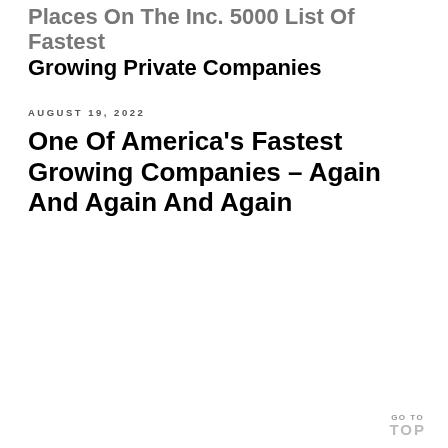Places On The Inc. 5000 List Of Fastest Growing Private Companies
AUGUST 19, 2022
One Of America's Fastest Growing Companies – Again And Again And Again
GO TO TOP